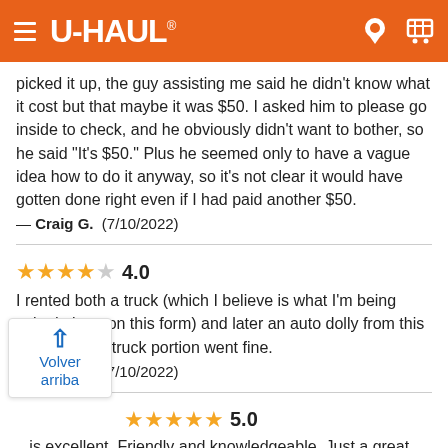U-HAUL
picked it up, the guy assisting me said he didn't know what it cost but that maybe it was $50. I asked him to please go inside to check, and he obviously didn't want to bother, so he said "It's $50." Plus he seemed only to have a vague idea how to do it anyway, so it's not clear it would have gotten done right even if I had paid another $50.
— Craig G.  (7/10/2022)
★★★★☆ 4.0
I rented both a truck (which I believe is what I'm being asked about on this form) and later an auto dolly from this location. The truck portion went fine.
— Craig G.  (7/10/2022)
★★★★★ 5.0
...is excellent. Friendly and knowledgeable. Just a great ...ce at a stressful moment for me so thank you!
— Matthew W.  |  First Impressions  (7/9/2022)